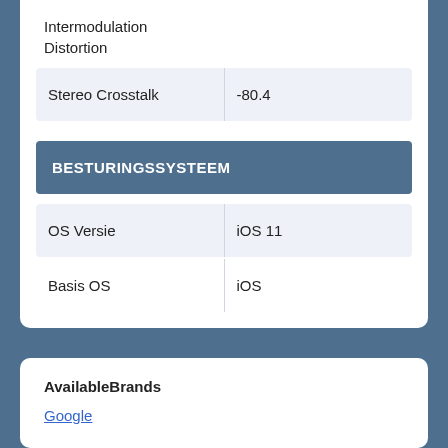Intermodulation Distortion
|  |  |
| --- | --- |
| Stereo Crosstalk | -80.4 |
BESTURINGSSYSTEEM
|  |  |
| --- | --- |
| OS Versie | iOS 11 |
| Basis OS | iOS |
AvailableBrands
Google